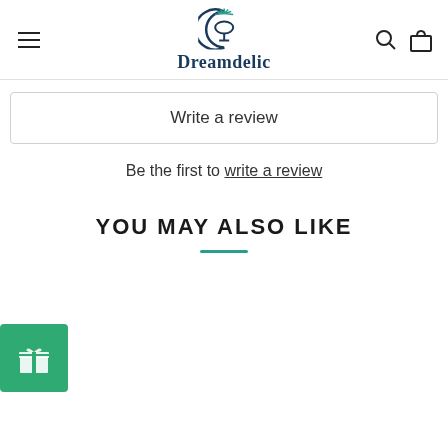Dreamdelic
Write a review
Be the first to write a review
YOU MAY ALSO LIKE
[Figure (illustration): Green gift/reward button icon in bottom left corner]